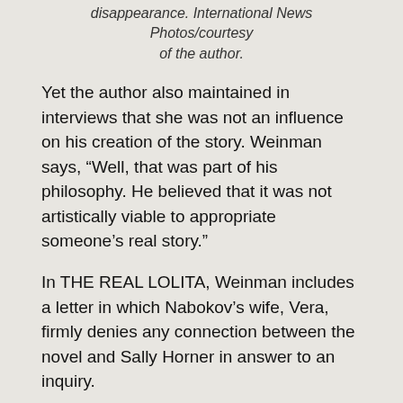disappearance. International News Photos/courtesy of the author.
Yet the author also maintained in interviews that she was not an influence on his creation of the story. Weinman says, “Well, that was part of his philosophy. He believed that it was not artistically viable to appropriate someone’s real story.”
In THE REAL LOLITA, Weinman includes a letter in which Nabokov’s wife, Vera, firmly denies any connection between the novel and Sally Horner in answer to an inquiry.
Other interesting aspects of her book are the journey to publication for Lolita in a time of censorship, and Nabokov’s own preoccupation in his literary output with the sexuality of prepubescent girls.